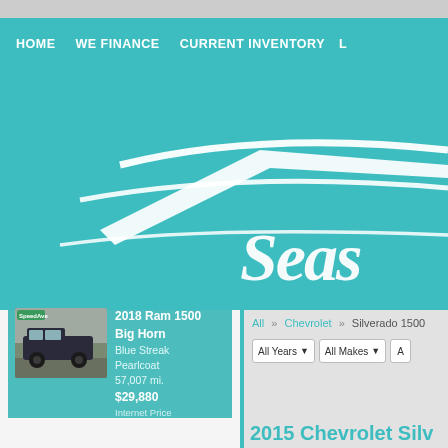HOME   WE FINANCE   CURRENT INVENTORY   LO
[Figure (logo): Teal background hero section with white stylized car silhouette/swoosh lines and 'Seas' script logo text in white]
[Figure (photo): 2018 Ram 1500 Big Horn truck photo thumbnail, dark blue/black color, parked outdoors]
2018 Ram 1500 Big Horn
Blue Streak Pearlcoat
57,007 mi.
$29,880
Internet Price
All » Chevrolet » Silverado 1500
All Years ▾   All Makes ▾   A
2015 Chevrolet Silv